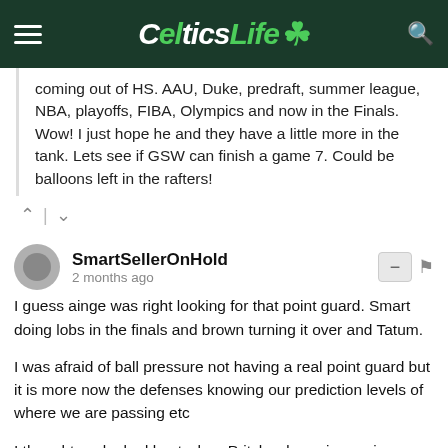CelticsLife
coming out of HS. AAU, Duke, predraft, summer league, NBA, playoffs, FIBA, Olympics and now in the Finals. Wow! I just hope he and they have a little more in the tank. Lets see if GSW can finish a game 7. Could be balloons left in the rafters!
SmartSellerOnHold
2 months ago
I guess ainge was right looking for that point guard. Smart doing lobs in the finals and brown turning it over and Tatum.
I was afraid of ball pressure not having a real point guard but it is more now the defenses knowing our prediction levels of where we are passing etc
I thought we looked best when Pritchard was in running around and moving the offense. He got like 2 looks